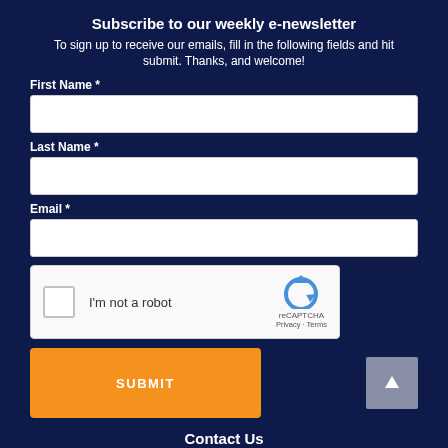Subscribe to our weekly e-newsletter
To sign up to receive our emails, fill in the following fields and hit submit. Thanks, and welcome!
First Name *
Last Name *
Email *
[Figure (other): reCAPTCHA widget with checkbox labeled 'I'm not a robot' and reCAPTCHA logo with Privacy and Terms links]
SUBMIT
Contact Us